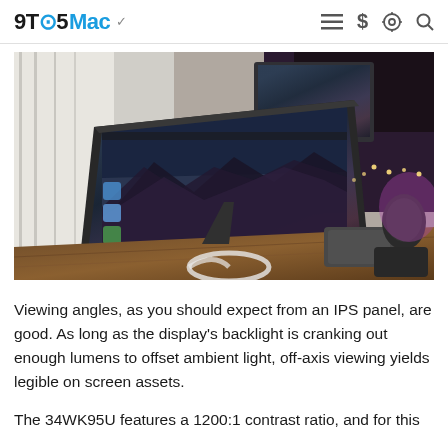9TO5Mac
[Figure (photo): A large ultrawide LG monitor displaying a macOS Mojave mountain wallpaper, sitting on a wooden desk. Behind it is a secondary monitor, and to the right is a Mac mini, a HomePod mini, and a trackpad. There are purple/pink ambient lights in the background and string lights.]
Viewing angles, as you should expect from an IPS panel, are good. As long as the display's backlight is cranking out enough lumens to offset ambient light, off-axis viewing yields legible on screen assets.
The 34WK95U features a 1200:1 contrast ratio, and for this